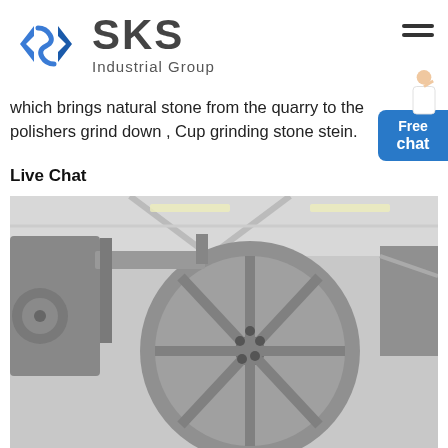[Figure (logo): SKS Industrial Group logo with blue angular S-shape icon and dark gray SKS text]
which brings natural stone from the quarry to the polishers grind down , Cup grinding stone stein.
Live Chat
[Figure (photo): Close-up industrial photo of large gray flywheel/pulley on heavy machinery inside a factory warehouse]